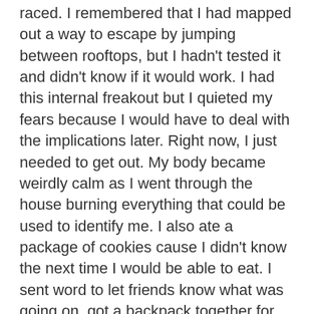raced. I remembered that I had mapped out a way to escape by jumping between rooftops, but I hadn't tested it and didn't know if it would work. I had this internal freakout but I quieted my fears because I would have to deal with the implications later. Right now, I just needed to get out. My body became weirdly calm as I went through the house burning everything that could be used to identify me. I also ate a package of cookies cause I didn't know the next time I would be able to eat. I sent word to let friends know what was going on, got a backpack together for my rooftop journey, and looked out the window one last time—and the cop was gone.
Friends later found out through social engineering that the cops were involved in something entirely unrelated, and we were able to return to that spot